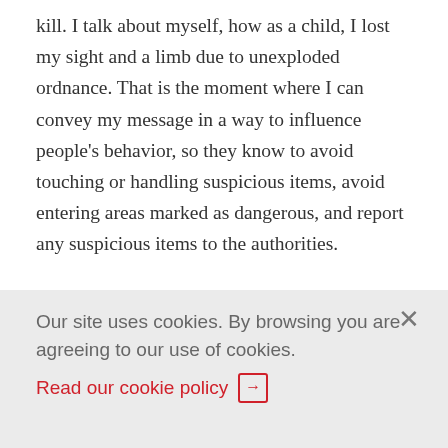kill. I talk about myself, how as a child, I lost my sight and a limb due to unexploded ordnance. That is the moment where I can convey my message in a way to influence people's behavior, so they know to avoid touching or handling suspicious items, avoid entering areas marked as dangerous, and report any suspicious items to the authorities.

Since MAG started working in my community, many areas have been cleared of mines and unexploded ordnance and made safe. This allows
Our site uses cookies. By browsing you are agreeing to our use of cookies. Read our cookie policy →